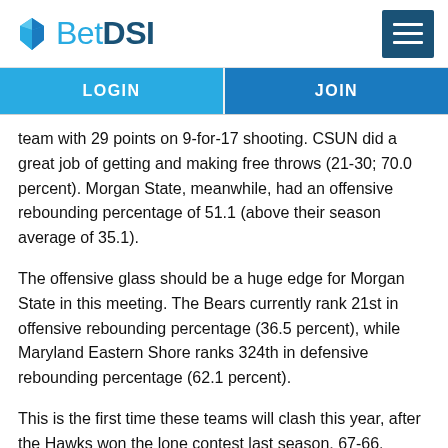BetDSI
LOGIN
JOIN
team with 29 points on 9-for-17 shooting. CSUN did a great job of getting and making free throws (21-30; 70.0 percent). Morgan State, meanwhile, had an offensive rebounding percentage of 51.1 (above their season average of 35.1).
The offensive glass should be a huge edge for Morgan State in this meeting. The Bears currently rank 21st in offensive rebounding percentage (36.5 percent), while Maryland Eastern Shore ranks 324th in defensive rebounding percentage (62.1 percent).
This is the first time these teams will clash this year, after the Hawks won the lone contest last season, 67-66. Maryland Eastern Shore's 0.628 effective field goal percentage was its